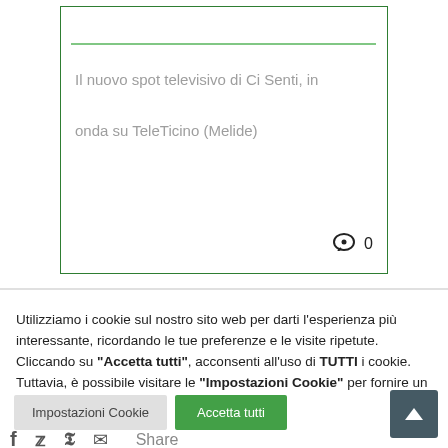Spot di Senti su TeleTicino
Il nuovo spot televisivo di Ci Senti, in onda su TeleTicino (Melide)
Utilizziamo i cookie sul nostro sito web per darti l'esperienza più interessante, ricordando le tue preferenze e le visite ripetute. Cliccando su "Accetta tutti", acconsenti all'uso di TUTTI i cookie. Tuttavia, è possibile visitare le "Impostazioni Cookie" per fornire un consenso controllato.